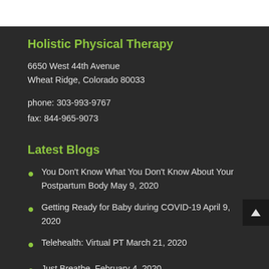Holistic Physical Therapy
6650 West 44th Avenue
Wheat Ridge, Colorado 80033
phone: 303-993-9767
fax: 844-965-9073
Latest Blogs
You Don't Know What You Don't Know About Your Postpartum Body May 9, 2020
Getting Ready for Baby during COVID-19 April 9, 2020
Telehealth: Virtual PT March 21, 2020
Just Breathe  February 4, 2020